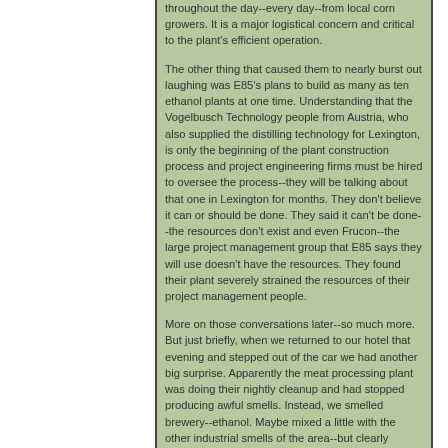throughout the day--every day--from local corn growers. It is a major logistical concern and critical to the plant's efficient operation.
The other thing that caused them to nearly burst out laughing was E85's plans to build as many as ten ethanol plants at one time. Understanding that the Vogelbusch Technology people from Austria, who also supplied the distilling technology for Lexington, is only the beginning of the plant construction process and project engineering firms must be hired to oversee the process--they will be talking about that one in Lexington for months. They don't believe it can or should be done. They said it can't be done--the resources don't exist and even Frucon--the large project management group that E85 says they will use doesn't have the resources. They found their plant severely strained the resources of their project management people.
More on those conversations later--so much more. But just briefly, when we returned to our hotel that evening and stepped out of the car we had another big surprise. Apparently the meat processing plant was doing their nightly cleanup and had stopped producing awful smells. Instead, we smelled brewery--ethanol. Maybe mixed a little with the other industrial smells of the area--but clearly ethanol. 2.0 miles from the plant site. Air was still--very little wind. 37 degrees--COLD.